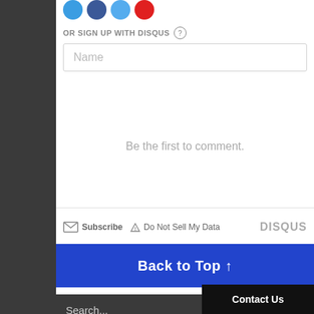[Figure (other): Social media icons: blue circle, navy blue circle, light blue circle, red circle (partial view at top)]
OR SIGN UP WITH DISQUS ?
Name
Be the first to comment.
Subscribe  Do Not Sell My Data  DISQUS
Back to Top ↑
Search...
Go →
Contact Us